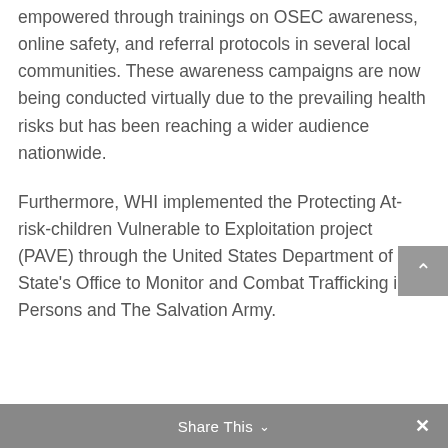empowered through trainings on OSEC awareness, online safety, and referral protocols in several local communities. These awareness campaigns are now being conducted virtually due to the prevailing health risks but has been reaching a wider audience nationwide.
Furthermore, WHI implemented the Protecting At-risk-children Vulnerable to Exploitation project (PAVE) through the United States Department of State's Office to Monitor and Combat Trafficking in Persons and The Salvation Army.
Share This ∨  ✕